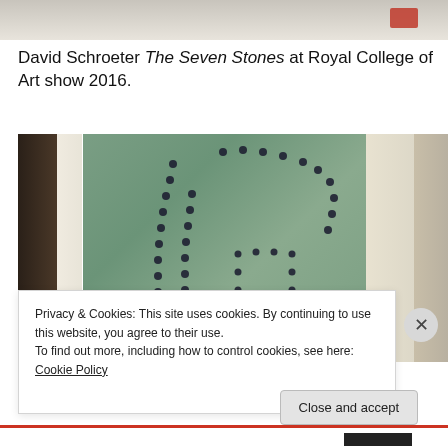[Figure (photo): Top portion of an artwork or exhibition photo, partially visible at the very top of the page with a light/grey tone and hint of red]
David Schroeter The Seven Stones at Royal College of Art show 2016.
[Figure (photo): Close-up photograph of an artwork by David Schroeter titled The Seven Stones, showing a curved green/teal sculptural form with dark dotted stitch-like patterns, flanked by creamy white curved elements, with a weathered wooden frame on the left side]
Privacy & Cookies: This site uses cookies. By continuing to use this website, you agree to their use.
To find out more, including how to control cookies, see here: Cookie Policy
Close and accept